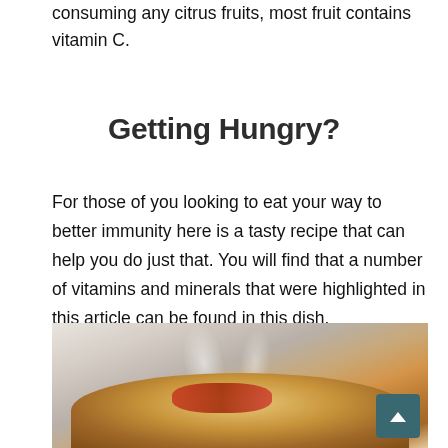consuming any citrus fruits, most fruit contains vitamin C.
Getting Hungry?
For those of you looking to eat your way to better immunity here is a tasty recipe that can help you do just that. You will find that a number of vitamins and minerals that were highlighted in this article can be found in this dish.
[Figure (photo): A steaming hot food dish, appears to be a golden-brown pastry or stuffed food item with red topping, held by a hand against a light background with steam rising.]